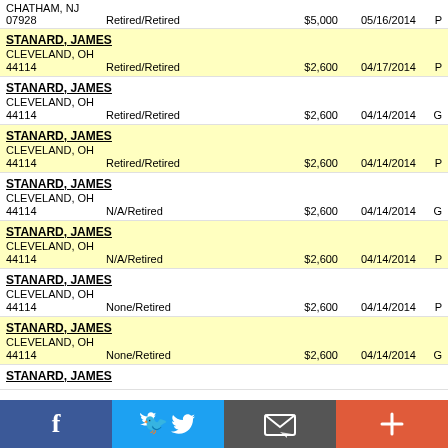CHATHAM, NJ
07928  Retired/Retired  $5,000  05/16/2014  P
STANARD, JAMES
CLEVELAND, OH
44114  Retired/Retired  $2,600  04/17/2014  P
STANARD, JAMES
CLEVELAND, OH
44114  Retired/Retired  $2,600  04/14/2014  G
STANARD, JAMES
CLEVELAND, OH
44114  Retired/Retired  $2,600  04/14/2014  P
STANARD, JAMES
CLEVELAND, OH
44114  N/A/Retired  $2,600  04/14/2014  G
STANARD, JAMES
CLEVELAND, OH
44114  N/A/Retired  $2,600  04/14/2014  P
STANARD, JAMES
CLEVELAND, OH
44114  None/Retired  $2,600  04/14/2014  P
STANARD, JAMES
CLEVELAND, OH
44114  None/Retired  $2,600  04/14/2014  G
STANARD, JAMES